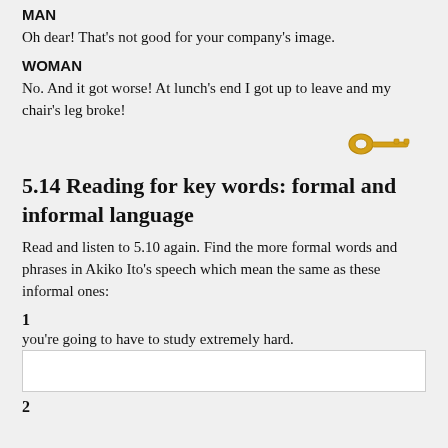MAN
Oh dear! That's not good for your company's image.
WOMAN
No. And it got worse! At lunch's end I got up to leave and my chair's leg broke!
[Figure (illustration): A gold key icon pointing to the right]
5.14 Reading for key words: formal and informal language
Read and listen to 5.10 again. Find the more formal words and phrases in Akiko Ito's speech which mean the same as these informal ones:
1
you're going to have to study extremely hard.
2